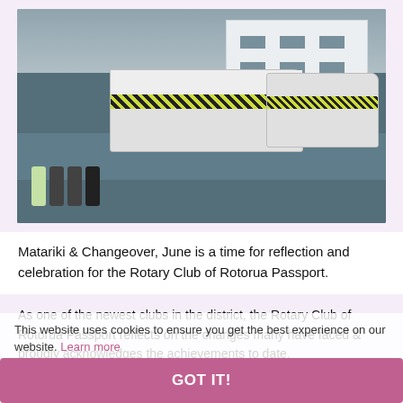[Figure (photo): Four people standing in front of two white ambulances with yellow and black chevron stripes, outside a white building. One person is wearing a high-visibility yellow vest.]
Matariki & Changeover, June is a time for reflection and celebration for the Rotary Club of Rotorua Passport.
This website uses cookies to ensure you get the best experience on our website. Learn more
As one of the newest clubs in the district, the Rotary Club of Rotorua Passport reflects on the changes many have faced & proudly acknowledges the achievements to date.
GOT IT!